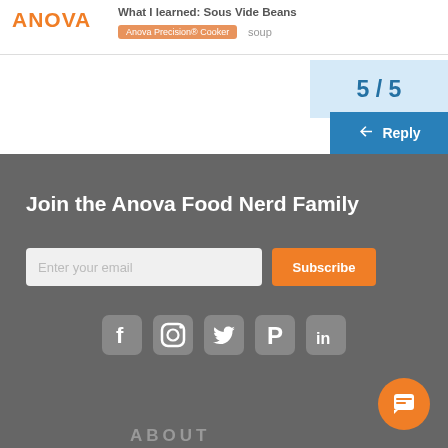What I learned: Sous Vide Beans | Anova Precision® Cooker  soup
5 / 5
Reply
Join the Anova Food Nerd Family
Enter your email  Subscribe
[Figure (other): Social media icons: Facebook, Instagram, Twitter, Pinterest, LinkedIn]
[Figure (other): Orange chat/message button]
ABOUT